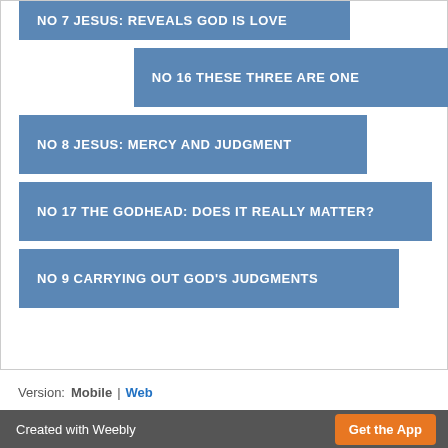NO 7 JESUS: REVEALS GOD IS LOVE
NO  16 THESE THREE ARE ONE
NO 8 JESUS: MERCY AND JUDGMENT
NO 17 THE GODHEAD: DOES IT REALLY MATTER?
NO 9 CARRYING OUT GOD'S JUDGMENTS
Version:  Mobile  |  Web
Created with Weebly  Get the App